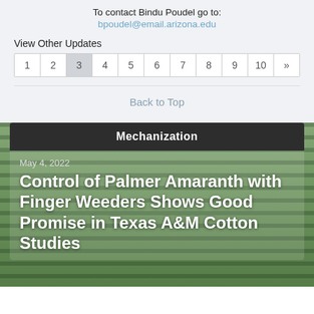To contact Bindu Poudel go to:
bpoudel@email.arizona.edu
View Other Updates
| 1 | 2 | 3 | 4 | 5 | 6 | 7 | 8 | 9 | 10 | » |
| --- | --- | --- | --- | --- | --- | --- | --- | --- | --- | --- |
Back to Top
Mechanization
May 4, 2022
Control of Palmer Amaranth with Finger Weeders Shows Good Promise in Texas A&M Cotton Studies